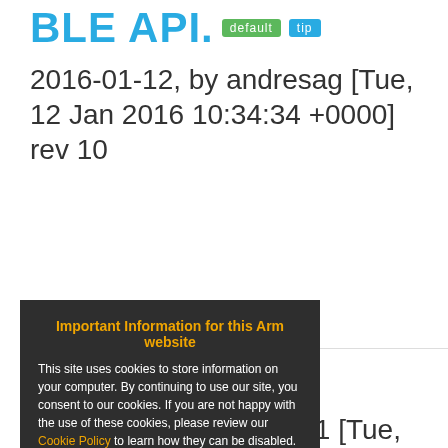BLE API. default tip
2016-01-12, by andresag [Tue, 12 Jan 2016 10:34:34 +0000] rev 10
Update example to latest BLE API.
...lying
2015-09-29, by rgrover1 [Tue,
Important Information for this Arm website

This site uses cookies to store information on your computer. By continuing to use our site, you consent to our cookies. If you are not happy with the use of these cookies, please review our Cookie Policy to learn how they can be disabled. By disabling cookies, some features of the site will not work.

Accept and hide this message